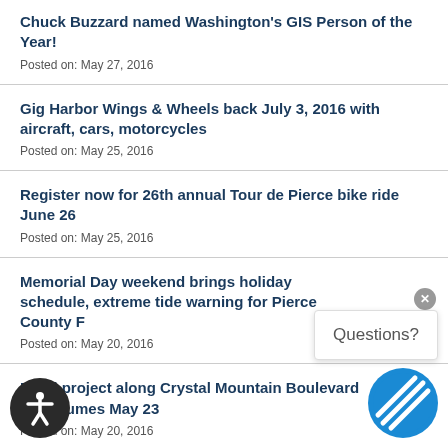Chuck Buzzard named Washington's GIS Person of the Year!
Posted on: May 27, 2016
Gig Harbor Wings & Wheels back July 3, 2016 with aircraft, cars, motorcycles
Posted on: May 25, 2016
Register now for 26th annual Tour de Pierce bike ride June 26
Posted on: May 25, 2016
Memorial Day weekend brings holiday schedule, extreme tide warning for Pierce County F…
Posted on: May 20, 2016
Road project along Crystal Mountain Boulevard Ea… sumes May 23
Posted on: May 20, 2016